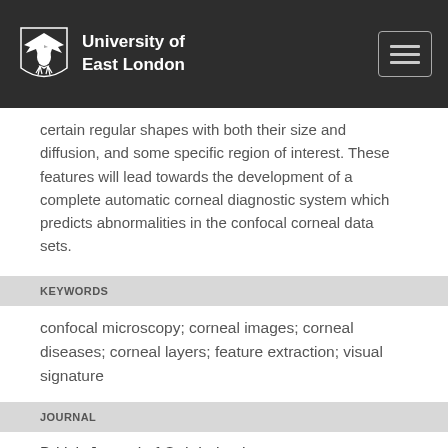University of East London
certain regular shapes with both their size and diffusion, and some specific region of interest. These features will lead towards the development of a complete automatic corneal diagnostic system which predicts abnormalities in the confocal corneal data sets.
KEYWORDS
confocal microscopy; corneal images; corneal diseases; corneal layers; feature extraction; visual signature
JOURNAL
British Journal of Ophthalmology
JOURNAL CITATION